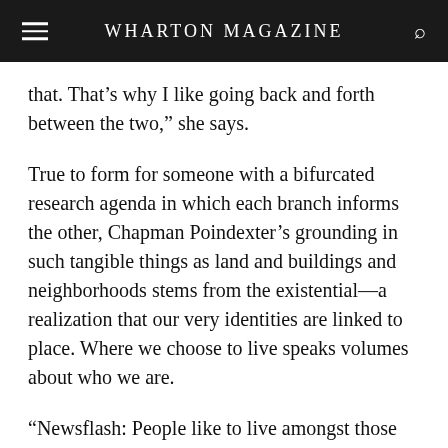WHARTON MAGAZINE
that. That’s why I like going back and forth between the two,” she says.
True to form for someone with a bifurcated research agenda in which each branch informs the other, Chapman Poindexter’s grounding in such tangible things as land and buildings and neighborhoods stems from the existential—a realization that our very identities are linked to place. Where we choose to live speaks volumes about who we are.
“Newsflash: People like to live amongst those who are like themselves. We can say that’s wrong, we can say you should live in one big melting pot, but